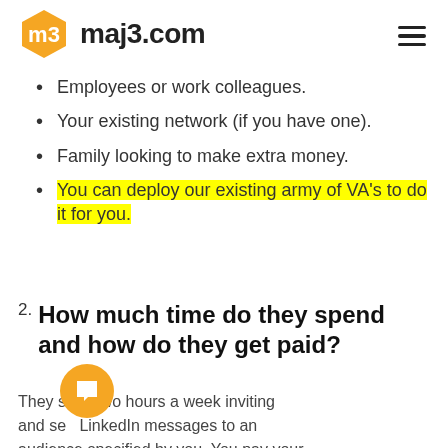maj3.com
Employees or work colleagues.
Your existing network (if you have one).
Family looking to make extra money.
You can deploy our existing army of VA's to do it for you.
2. How much time do they spend and how do they get paid?
They s  st two hours a week inviting and se  LinkedIn messages to an audience specified by you. You pay your